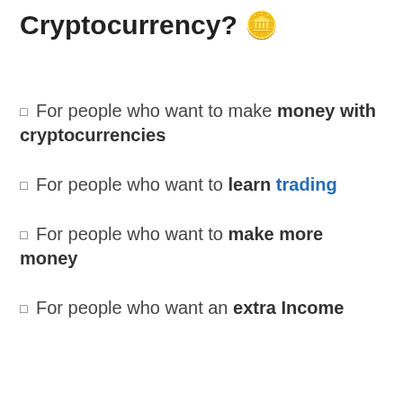Cryptocurrency? 🪙
For people who want to make money with cryptocurrencies
For people who want to learn trading
For people who want to make more money
For people who want an extra Income